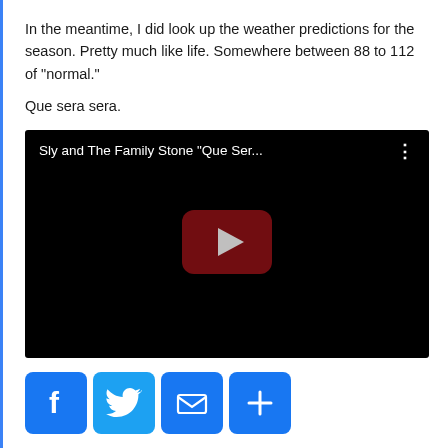In the meantime, I did look up the weather predictions for the season. Pretty much like life. Somewhere between 88 to 112 of "normal."

Que sera sera.
[Figure (screenshot): Embedded YouTube video player (black background) showing title 'Sly and The Family Stone "Que Ser...' with a YouTube play button in the center.]
[Figure (infographic): Social share buttons: Facebook (f), Twitter (bird), Email (envelope), More (+)]
Posted in Daily Posts